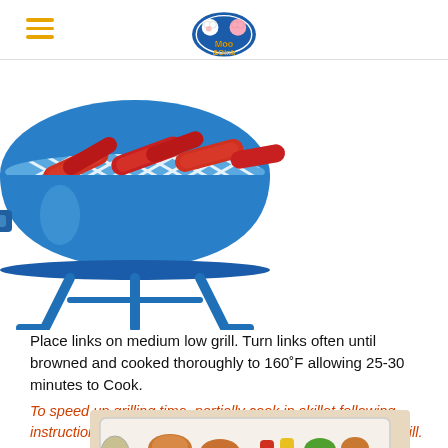Moo & Oink logo and navigation menu
[Figure (illustration): Blue cartoon kettle grill with red sausage links cooking on a grill grate with diagonal hatching pattern]
Place links on medium low grill. Turn links often until browned and cooked thoroughly to 160˚F allowing 25-30 minutes to Cook.
To speed up grilling time, partially cook in skillet following instructions for stovetop skillet cooking, and finish on the grill.
[Figure (photo): Photo of food being cooked in a skillet/pan, with vegetables and sausages visible]